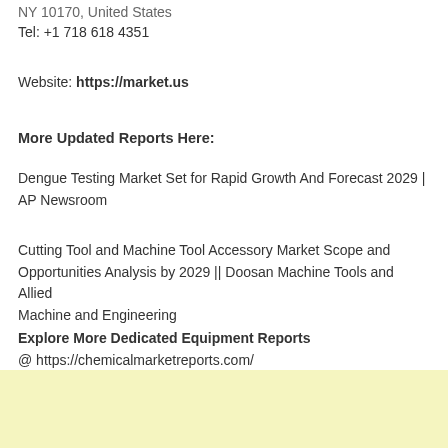NY 10170, United States
Tel: +1 718 618 4351
Website: https://market.us
More Updated Reports Here:
Dengue Testing Market Set for Rapid Growth And Forecast 2029 | AP Newsroom
Cutting Tool and Machine Tool Accessory Market Scope and Opportunities Analysis by 2029 || Doosan Machine Tools and Allied Machine and Engineering
Explore More Dedicated Equipment Reports
@ https://chemicalmarketreports.com/
[Figure (other): Light yellow background box at the bottom of the page]